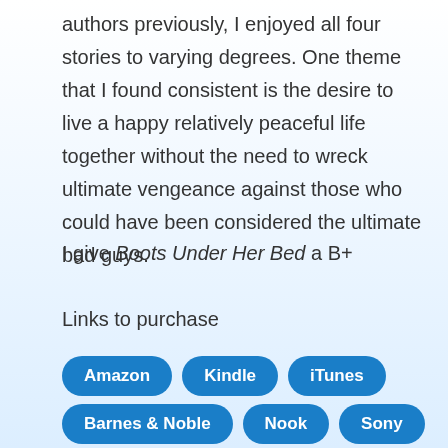authors previously, I enjoyed all four stories to varying degrees. One theme that I found consistent is the desire to live a happy relatively peaceful life together without the need to wreck ultimate vengeance against those who could have been considered the ultimate bad guys.
I give Boots Under Her Bed a B+
Links to purchase
Amazon
Kindle
iTunes
Barnes & Noble
Nook
Sony
Book Depository
Kobo